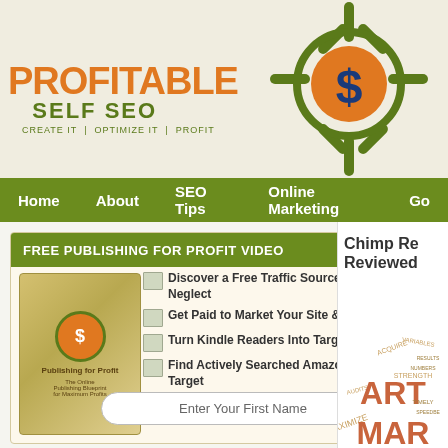[Figure (logo): Profitable Self SEO logo with dollar sign target icon, orange and green colors. Text: PROFITABLE SELF SEO - CREATE IT | OPTIMIZE IT | PROFIT]
Home | About | SEO Tips | Online Marketing | Go...
FREE PUBLISHING FOR PROFIT VIDEO
[Figure (illustration): Book cover for 'Publishing for Profit - The Online Publishing Blueprint for Maximum Profits' with Profitable Self SEO logo on cover]
Discover a Free Traffic Source Most Neglect
Get Paid to Market Your Site & Products
Turn Kindle Readers Into Targeted Traffic
Find Actively Searched Amazon Niches to Target
Enter Your First Name
[Figure (infographic): Right sidebar showing 'Chimp Re... Reviewed...' heading with a word cloud containing marketing-related terms like RESULTS, STRENGTH, MAXIMIZE, TIMELY, MARKET, ACQUIRE in various sizes and colors]
Chimp Re... Reviewed...